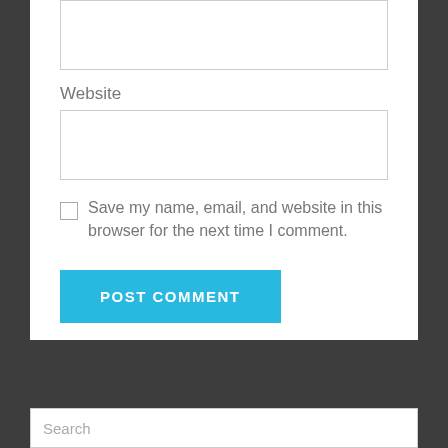[Figure (screenshot): Empty text input box at the top of the white section (first input, likely for email or name)]
Website
[Figure (screenshot): Empty text input box for website URL]
[Figure (screenshot): Unchecked checkbox]
Save my name, email, and website in this browser for the next time I comment.
[Figure (screenshot): Blue POST COMMENT button]
[Figure (screenshot): Search input bar at the bottom of the dark section]